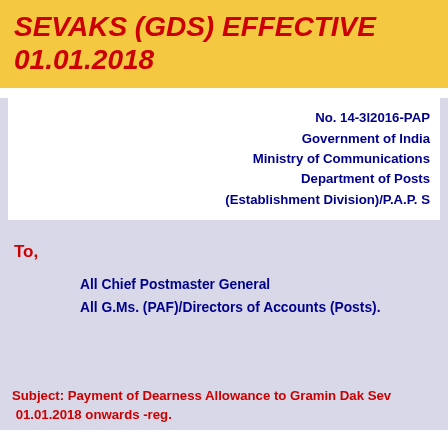SEVAKS (GDS) EFFECTIVE 01.01.2018
No. 14-3l2016-PAP
Government of India
Ministry of Communications
Department of Posts
(Establishment Division)/P.A.P. S
To,
All Chief Postmaster General
All G.Ms. (PAF)/Directors of Accounts (Posts).
Subject: Payment of Dearness Allowance to Gramin Dak Sevaks (GDS) effective 01.01.2018 onwards -reg.